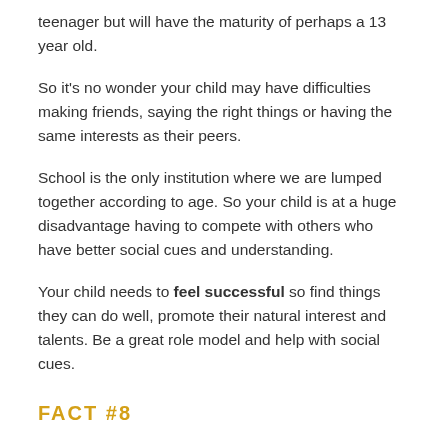teenager but will have the maturity of perhaps a 13 year old.
So it's no wonder your child may have difficulties making friends, saying the right things or having the same interests as their peers.
School is the only institution where we are lumped together according to age. So your child is at a huge disadvantage having to compete with others who have better social cues and understanding.
Your child needs to feel successful so find things they can do well, promote their natural interest and talents. Be a great role model and help with social cues.
FACT #8